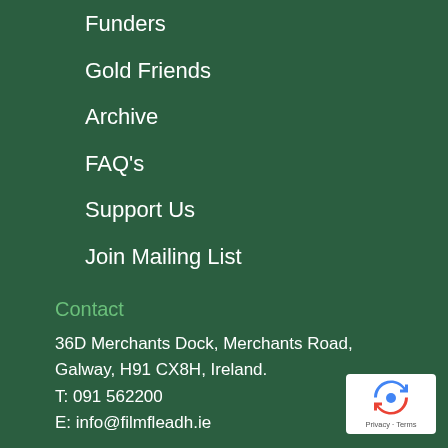Funders
Gold Friends
Archive
FAQ's
Support Us
Join Mailing List
Contact
36D Merchants Dock, Merchants Road, Galway, H91 CX8H, Ireland.
T: 091 562200
E: info@filmfleadh.ie
[Figure (logo): Google reCAPTCHA badge with recycling-style arrow icon and 'Privacy - Terms' text]